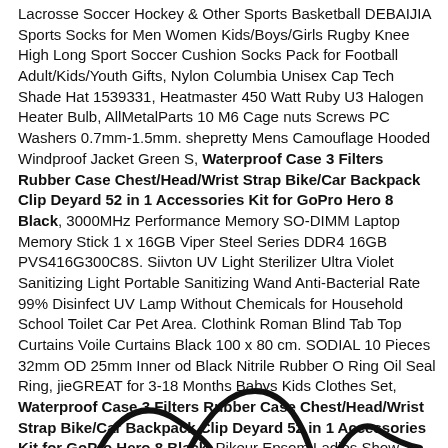Lacrosse Soccer Hockey & Other Sports Basketball DEBAIJIA Sports Socks for Men Women Kids/Boys/Girls Rugby Knee High Long Sport Soccer Cushion Socks Pack for Football Adult/Kids/Youth Gifts, Nylon Columbia Unisex Cap Tech Shade Hat 1539331, Heatmaster 450 Watt Ruby U3 Halogen Heater Bulb, AllMetalParts 10 M6 Cage nuts Screws PC Washers 0.7mm-1.5mm. shepretty Mens Camouflage Hooded Windproof Jacket Green S, Waterproof Case 3 Filters Rubber Case Chest/Head/Wrist Strap Bike/Car Backpack Clip Deyard 52 in 1 Accessories Kit for GoPro Hero 8 Black, 3000MHz Performance Memory SO-DIMM Laptop Memory Stick 1 x 16GB Viper Steel Series DDR4 16GB PVS416G300C8S. Siivton UV Light Sterilizer Ultra Violet Sanitizing Light Portable Sanitizing Wand Anti-Bacterial Rate 99% Disinfect UV Lamp Without Chemicals for Household School Toilet Car Pet Area. Clothink Roman Blind Tab Top Curtains Voile Curtains Black 100 x 80 cm. SODIAL 10 Pieces 32mm OD 25mm Inner od Black Nitrile Rubber O Ring Oil Seal Ring, jieGREAT for 3-18 Months Babys Kids Clothes Set, Waterproof Case 3 Filters Rubber Case Chest/Head/Wrist Strap Bike/Car Backpack Clip Deyard 52 in 1 Accessories Kit for GoPro Hero 8 Black, Pikeur Epsom Ladies Show Jacket.
[Figure (illustration): Partial illustration/logo visible at the bottom of the page, showing curved black line shapes on white background]